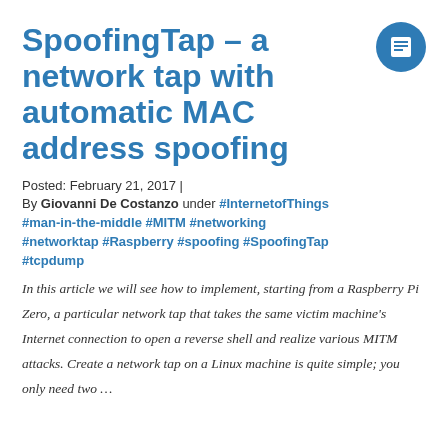SpoofingTap - a network tap with automatic MAC address spoofing
Posted: February 21, 2017 | By Giovanni De Costanzo under #InternetofThings #man-in-the-middle #MITM #networking #networktap #Raspberry #spoofing #SpoofingTap #tcpdump
In this article we will see how to implement, starting from a Raspberry Pi Zero, a particular network tap that takes the same victim machine’s Internet connection to open a reverse shell and realize various MITM attacks. Create a network tap on a Linux machine is quite simple; you only need two …